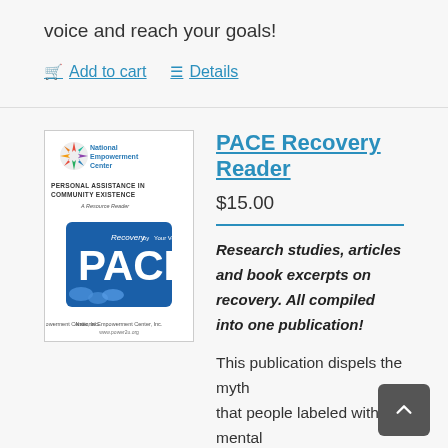voice and reach your goals!
Add to cart   Details
[Figure (illustration): Cover of PACE Recovery Reader booklet published by National Empowerment Center, showing 'PACE' logo with puzzle pieces and text 'Personal Assistance in Community Existence – A Resource Reader']
PACE Recovery Reader
$15.00
Research studies, articles and book excerpts on recovery. All compiled into one publication!
This publication dispels the myth that people labeled with mental